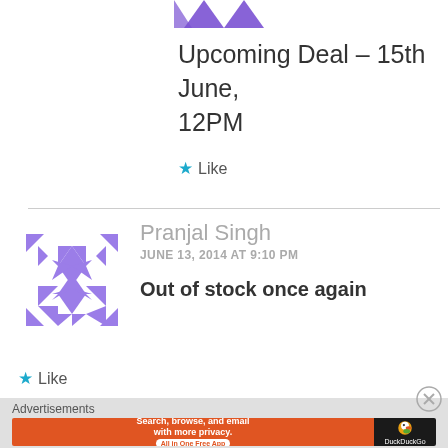[Figure (logo): Partial purple decorative logo/icon at the top center, only bottom portion visible showing purple arrow/chevron shapes]
Upcoming Deal – 15th June, 12PM
★ Like
Pranjal Singh
JUNE 13, 2014 AT 9:10 PM
Out of stock once again
★ Like
Advertisements
[Figure (screenshot): DuckDuckGo advertisement banner: orange left section with text 'Search, browse, and email with more privacy. All in One Free App' and dark right section with DuckDuckGo duck logo and brand name]